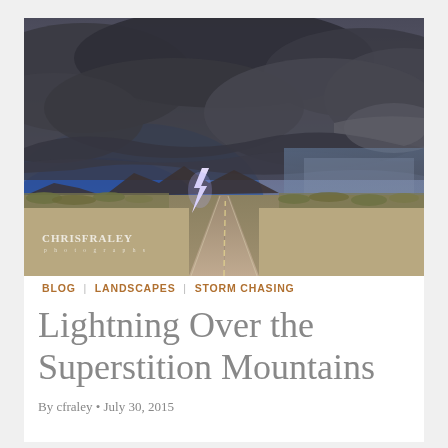[Figure (photo): Dramatic storm photo: A straight desert road leads toward the Superstition Mountains under a stormy sky with dark swirling clouds, a lightning bolt strike visible in the center-left, and heavy rain curtains on the right. Desert scrubland on both sides. ChrisFraley photographs watermark in the lower left corner.]
BLOG | LANDSCAPES | STORM CHASING
Lightning Over the Superstition Mountains
By cfraley • July 30, 2015